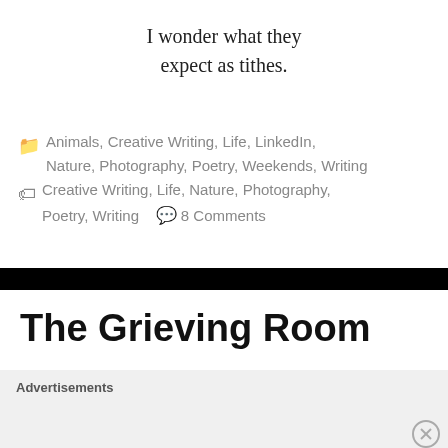I wonder what they expect as tithes.
Animals, Creative Writing, Life, LinkedIn, Nature, Photography, Poetry, Weekends, Writing  Creative Writing, Life, Nature, Photography, Poetry, Writing  8 Comments
The Grieving Room
Advertisements